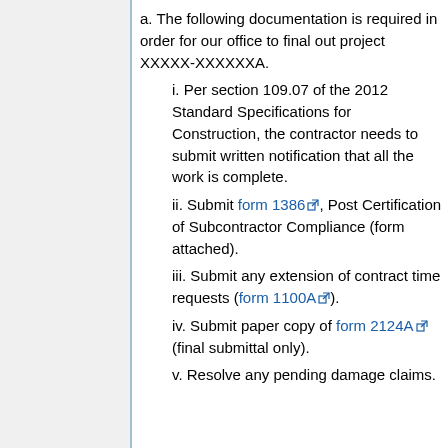a. The following documentation is required in order for our office to final out project XXXXX-XXXXXXA.
i. Per section 109.07 of the 2012 Standard Specifications for Construction, the contractor needs to submit written notification that all the work is complete.
ii. Submit form 1386, Post Certification of Subcontractor Compliance (form attached).
iii. Submit any extension of contract time requests (form 1100A).
iv. Submit paper copy of form 2124A (final submittal only).
v. Resolve any pending damage claims.